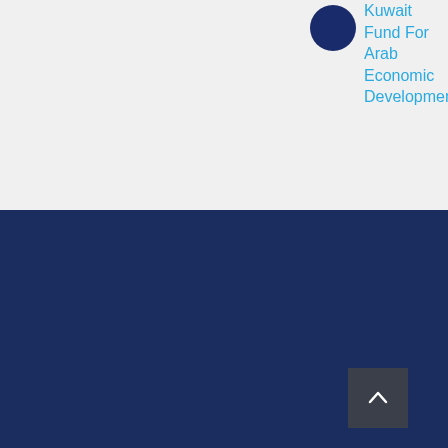[Figure (logo): Dark blue filled circle logo for Kuwait Fund For Arab Economic Development]
Kuwait Fund For Arab Economic Development
© Copyright 2022 | All Rights Reserved | Developed by AURORAS
Visitors counter :